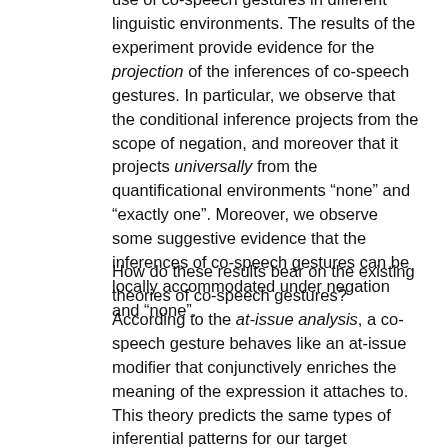use of co-speech gestures in different linguistic environments. The results of the experiment provide evidence for the projection of the inferences of co-speech gestures. In particular, we observe that the conditional inference projects from the scope of negation, and moreover that it projects universally from the quantificational environments “none” and “exactly one”. Moreover, we observe some suggestive evidence that the inferences of co-speech gestures can be locally accommodated under negation and “none”.
How do these results bear on the existing theories of co-speech gestures? According to the at-issue analysis, a co-speech gesture behaves like an at-issue modifier that conjunctively enriches the meaning of the expression it attaches to. This theory predicts the same types of inferential patterns for our target sentences and at-issue controls. This prediction is clearly not borne out by our data: co-speech gestures modifying verbal expressions give rise to non-trivial patterns of projection.
According to the supplemental analysis, a co-speech gesture plays the same kind of semantic role as an